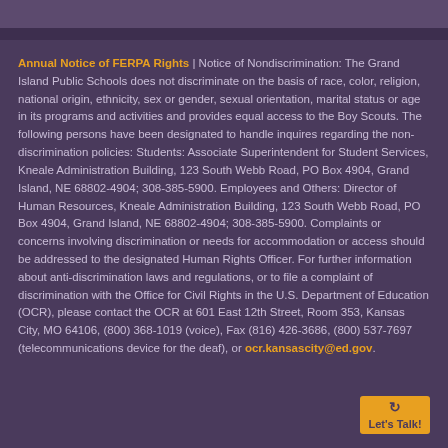Annual Notice of FERPA Rights | Notice of Nondiscrimination: The Grand Island Public Schools does not discriminate on the basis of race, color, religion, national origin, ethnicity, sex or gender, sexual orientation, marital status or age in its programs and activities and provides equal access to the Boy Scouts. The following persons have been designated to handle inquires regarding the non-discrimination policies: Students: Associate Superintendent for Student Services, Kneale Administration Building, 123 South Webb Road, PO Box 4904, Grand Island, NE 68802-4904; 308-385-5900. Employees and Others: Director of Human Resources, Kneale Administration Building, 123 South Webb Road, PO Box 4904, Grand Island, NE 68802-4904; 308-385-5900. Complaints or concerns involving discrimination or needs for accommodation or access should be addressed to the designated Human Rights Officer. For further information about anti-discrimination laws and regulations, or to file a complaint of discrimination with the Office for Civil Rights in the U.S. Department of Education (OCR), please contact the OCR at 601 East 12th Street, Room 353, Kansas City, MO 64106, (800) 368-1019 (voice), Fax (816) 426-3686, (800) 537-7697 (telecommunications device for the deaf), or ocr.kansascity@ed.gov.